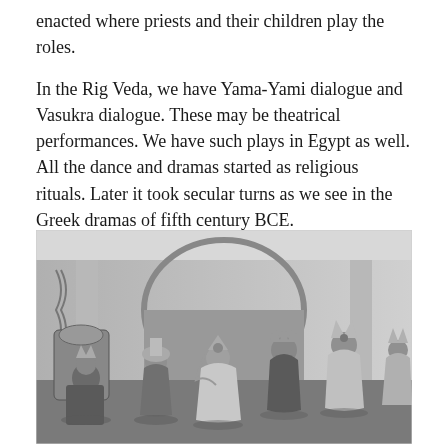enacted where priests and their children play the roles.
In the Rig Veda, we have Yama-Yami dialogue and Vasukra dialogue. These may be theatrical performances. We have such plays in Egypt as well. All the dance and dramas started as religious rituals. Later it took secular turns as we see in the Greek dramas of fifth century BCE.
[Figure (photo): A black and white photograph of performers in traditional Indian theatrical costumes, depicting a religious or mythological drama scene with elaborately dressed characters including figures with crowns and ornate attire, set against a decorated backdrop.]